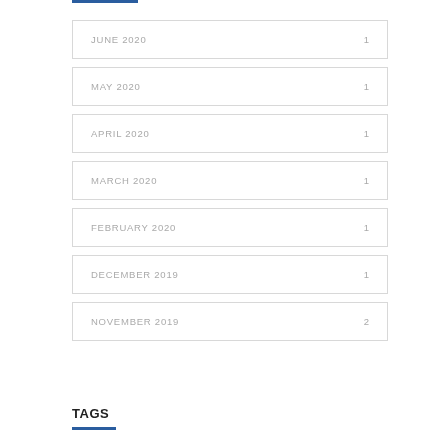JUNE 2020  1
MAY 2020  1
APRIL 2020  1
MARCH 2020  1
FEBRUARY 2020  1
DECEMBER 2019  1
NOVEMBER 2019  2
TAGS